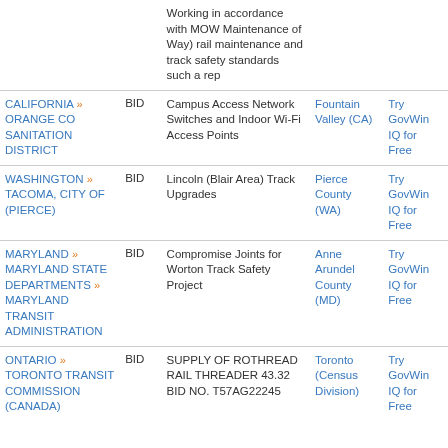| Entity | Type | Title | Location | Action |
| --- | --- | --- | --- | --- |
|  |  | Working in accordance with MOW Maintenance of Way) rail maintenance and track safety standards such a rep |  |  |
| CALIFORNIA » ORANGE CO SANITATION DISTRICT | BID | Campus Access Network Switches and Indoor Wi-Fi Access Points | Fountain Valley (CA) | Try GovWin IQ for Free |
| WASHINGTON » TACOMA, CITY OF (PIERCE) | BID | Lincoln (Blair Area) Track Upgrades | Pierce County (WA) | Try GovWin IQ for Free |
| MARYLAND » MARYLAND STATE DEPARTMENTS » MARYLAND TRANSIT ADMINISTRATION | BID | Compromise Joints for Worton Track Safety Project | Anne Arundel County (MD) | Try GovWin IQ for Free |
| ONTARIO » TORONTO TRANSIT COMMISSION (CANADA) | BID | SUPPLY OF ROTHREAD RAIL THREADER 43.32 BID NO. T57AG22245 | Toronto (Census Division) | Try GovWin IQ for Free |